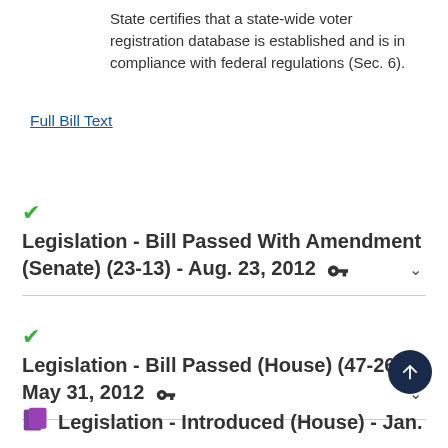State certifies that a state-wide voter registration database is established and is in compliance with federal regulations (Sec. 6).
Full Bill Text
✓ Legislation - Bill Passed With Amendment (Senate) (23-13) - Aug. 23, 2012
✓ Legislation - Bill Passed (House) (47-26) - May 31, 2012
Legislation - Introduced (House) - Jan.